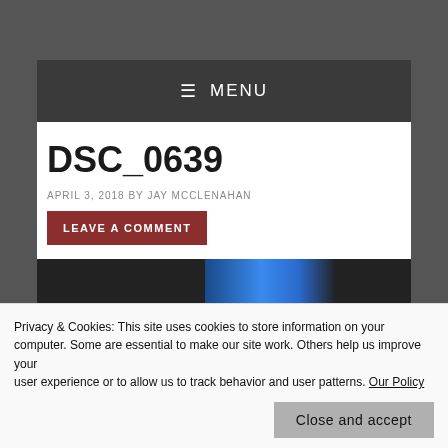≡ MENU
DSC_0639
APRIL 3, 2018 BY JAY MCCLENAHAN
LEAVE A COMMENT
[Figure (photo): Partial photo strip showing dark background with blue lighting element]
Privacy & Cookies: This site uses cookies to store information on your computer. Some are essential to make our site work. Others help us improve your user experience or to allow us to track behavior and user patterns. Our Policy
Close and accept